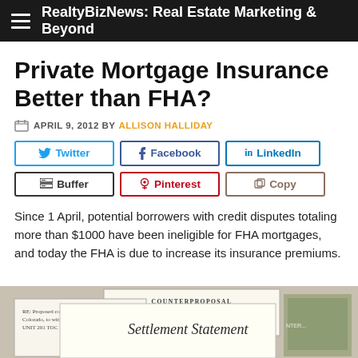RealtyBizNews: Real Estate Marketing & Beyond
Private Mortgage Insurance Better than FHA?
APRIL 9, 2012 BY ALLISON HALLIDAY
[Figure (other): Social share buttons: Twitter, Facebook, LinkedIn, Buffer, Pinterest, Copy]
Since 1 April, potential borrowers with credit disputes totaling more than $1000 have been ineligible for FHA mortgages, and today the FHA is due to increase its insurance premiums.
[Figure (photo): Photo of mortgage/real estate documents including a Settlement Statement and Counterproposal form]